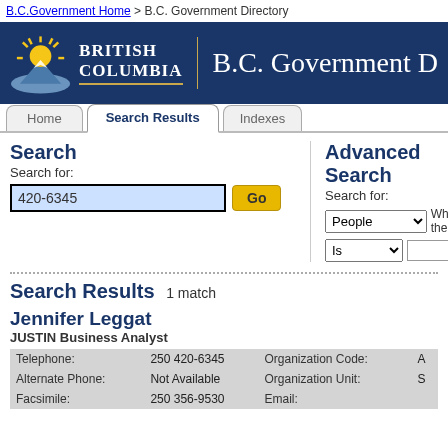B.C.Government Home > B.C. Government Directory
[Figure (logo): British Columbia Government logo with sun/mountain graphic and banner reading B.C. Government Directory]
Home | Search Results | Indexes (navigation tabs)
Search
Search for: 420-6345 [Go button]
Advanced Search
Search for: People dropdown, Where the [Is dropdown] [text input]
Search Results  1 match
Jennifer Leggat
JUSTIN Business Analyst
| Field | Value | Field | Value |
| --- | --- | --- | --- |
| Telephone: | 250 420-6345 | Organization Code: | A |
| Alternate Phone: | Not Available | Organization Unit: | S |
| Facsimile: | 250 356-9530 | Email: |  |